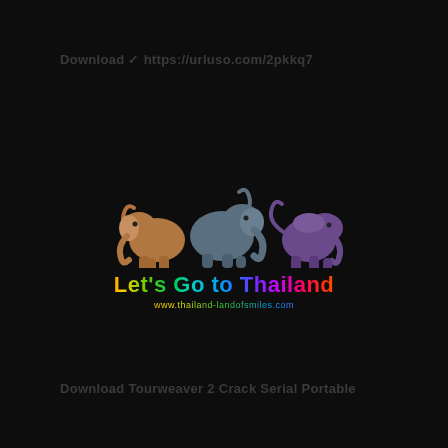Download ✓ https://urluso.com/2pkkq7
[Figure (logo): Let's Go to Thailand logo with three cartoon elephants (brown, grey-blue, purple) above rainbow-colored text 'Let's Go to Thailand' and website URL 'www.thailand-landofsmiles.com']
Download Tourweaver 2 Crack Serial Portable